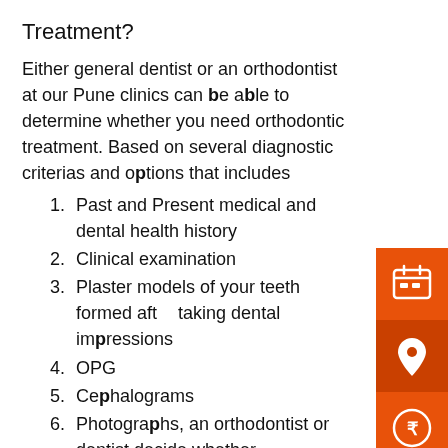Treatment?
Either general dentist or an orthodontist at our Pune clinics can be able to determine whether you need orthodontic treatment. Based on several diagnostic criterias and options that includes
Past and Present medical and dental health history
Clinical examination
Plaster models of your teeth formed after taking dental impressions
OPG
Cephalograms
Photographs, an orthodontist or dentist decide whether orthodontics are recommended, and develop a treatment plan accordingly.